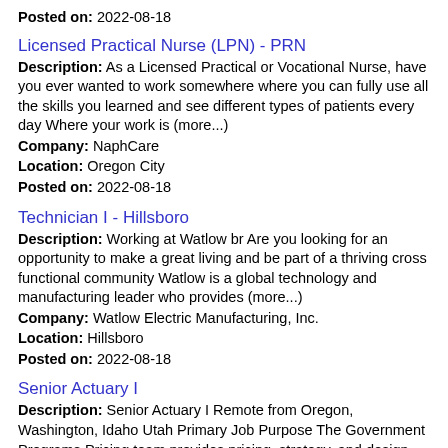Posted on: 2022-08-18
Licensed Practical Nurse (LPN) - PRN
Description: As a Licensed Practical or Vocational Nurse, have you ever wanted to work somewhere where you can fully use all the skills you learned and see different types of patients every day Where your work is (more...)
Company: NaphCare
Location: Oregon City
Posted on: 2022-08-18
Technician I - Hillsboro
Description: Working at Watlow br Are you looking for an opportunity to make a great living and be part of a thriving cross functional community Watlow is a global technology and manufacturing leader who provides (more...)
Company: Watlow Electric Manufacturing, Inc.
Location: Hillsboro
Posted on: 2022-08-18
Senior Actuary I
Description: Senior Actuary I Remote from Oregon, Washington, Idaho Utah Primary Job Purpose The Government Programs Pricing team provides pricing, strategy, and design support for fully insured Government Programs (more...)
Company: Cambia Health Solutions, Inc.
Location: Portland
Posted on: 2022-08-18